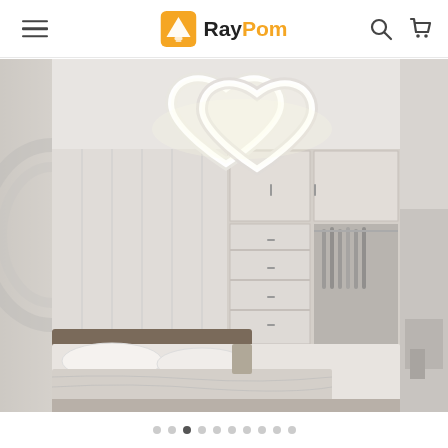RayPom
[Figure (photo): E-commerce website screenshot showing RayPom lighting store. Header with hamburger menu, RayPom logo (orange icon with lamp), search and cart icons. Main content shows a carousel with a bedroom scene featuring a double heart-shaped LED ceiling light fixture mounted on white ceiling, with white built-in wardrobes, a bed with white linens in foreground. Partial images visible on left and right sides of carousel. Carousel navigation dots at bottom, third dot active.]